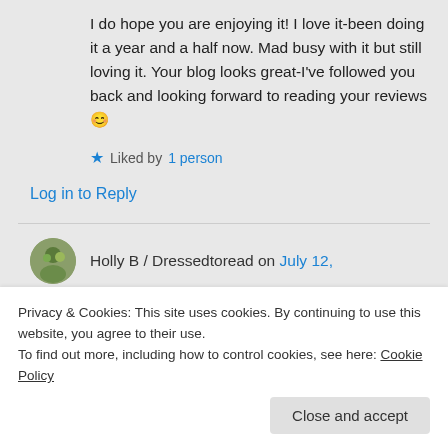I do hope you are enjoying it! I love it-been doing it a year and a half now. Mad busy with it but still loving it. Your blog looks great-I've followed you back and looking forward to reading your reviews 😊
★ Liked by 1 person
Log in to Reply
Holly B / Dressedtoread on July 12,
Privacy & Cookies: This site uses cookies. By continuing to use this website, you agree to their use.
To find out more, including how to control cookies, see here: Cookie Policy